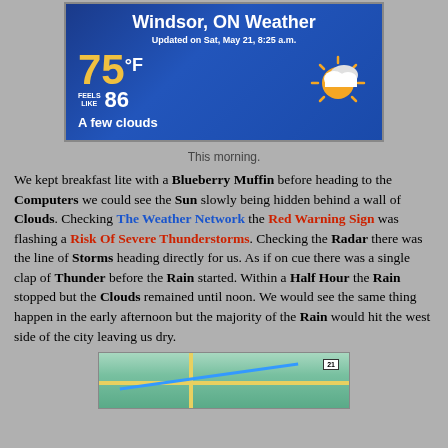[Figure (screenshot): Weather app screenshot showing Windsor, ON Weather. Updated on Sat, May 21, 8:25 a.m. Temperature 75°F, Feels Like 86, with partly cloudy sun icon. Condition: A few clouds.]
This morning.
We kept breakfast lite with a Blueberry Muffin before heading to the Computers we could see the Sun slowly being hidden behind a wall of Clouds. Checking The Weather Network the Red Warning Sign was flashing a Risk Of Severe Thunderstorms. Checking the Radar there was the line of Storms heading directly for us. As if on cue there was a single clap of Thunder before the Rain started. Within a Half Hour the Rain stopped but the Clouds remained until noon. We would see the same thing happen in the early afternoon but the majority of the Rain would hit the west side of the city leaving us dry.
[Figure (screenshot): Map screenshot showing a road map view of Windsor area.]